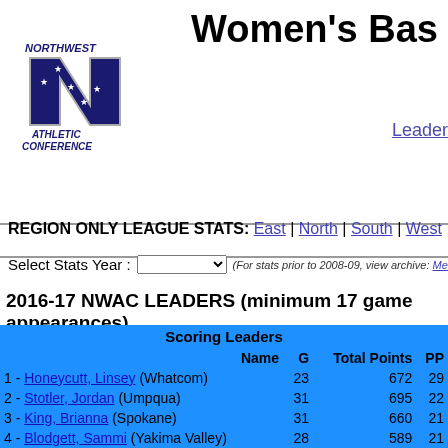Women's Bas
[Figure (logo): Northwest Athletic Conference logo with large N and stars]
Leaders
REGION ONLY LEAGUE STATS: East | North | South | West
Select Stats Year : (For stats prior to 2008-09, view archive: Men | Women)
2016-17 NWAC LEADERS (minimum 17 game appearances)
| Name | G | Total Points | PP |
| --- | --- | --- | --- |
| Scoring Leaders |  |  |  |
| 1 - Honeycutt, Linsey (Whatcom) | 23 | 672 | 29 |
| 2 - Stotler, Jordan (Umpqua) | 31 | 695 | 22 |
| 3 - King, Brianna (Spokane) | 31 | 660 | 21 |
| 4 - Blodgett, Sammi (Yakima Valley) | 28 | 589 | 21 |
| 5 - McKeown, Cierra Jo (Walla Walla) | 29 | 608 | 20 |